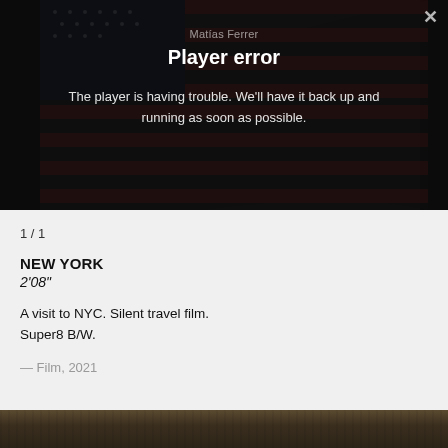[Figure (screenshot): Video player showing error message overlay on dark background with American flag image. Shows 'Player error' title and message 'The player is having trouble. We'll have it back up and running as soon as possible.' Author credit partially visible: 'Matías Ferrer'. Close button (X) in top right corner.]
1 / 1
NEW YORK
2'08"
A visit to NYC. Silent travel film.
Super8 B/W.
— Film, 2021
[Figure (photo): Partial thumbnail of another video, showing a warm brown/amber toned image, appears to be a film still.]